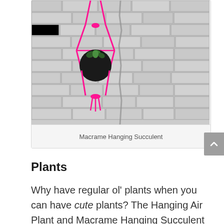[Figure (photo): A macrame plant hanger made with hot pink/neon cord holding a dark round pot with a succulent, hanging against a white painted brick wall with a vertical crack running down the center.]
Macrame Hanging Succulent
Plants
Why have regular ol’ plants when you can have cute plants? The Hanging Air Plant and Macrame Hanging Succulent classes